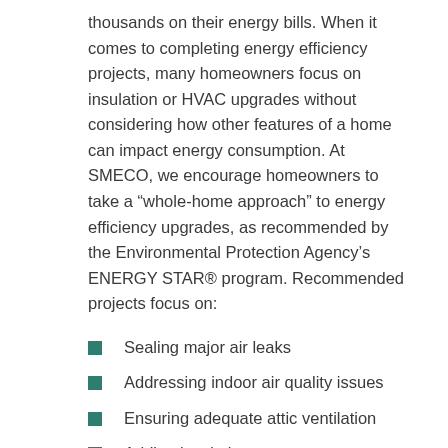thousands on their energy bills. When it comes to completing energy efficiency projects, many homeowners focus on insulation or HVAC upgrades without considering how other features of a home can impact energy consumption. At SMECO, we encourage homeowners to take a “whole-home approach” to energy efficiency upgrades, as recommended by the Environmental Protection Agency’s ENERGY STAR® program. Recommended projects focus on:
Sealing major air leaks
Addressing indoor air quality issues
Ensuring adequate attic ventilation
Adding insulation
When completed together, these improvements can